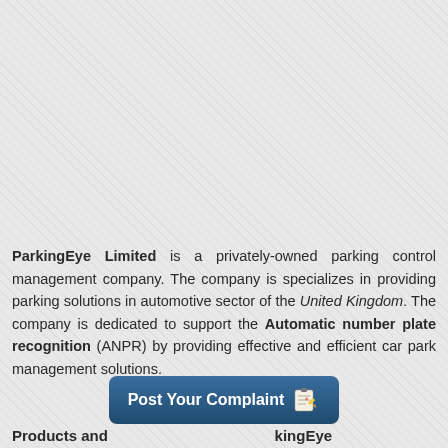ParkingEye Limited is a privately-owned parking control management company. The company is specializes in providing parking solutions in automotive sector of the United Kingdom. The company is dedicated to support the Automatic number plate recognition (ANPR) by providing effective and efficient car park management solutions.
[Figure (other): Blue rounded button labeled 'Post Your Complaint' with a notepad and pencil icon]
Products and ... kingEye